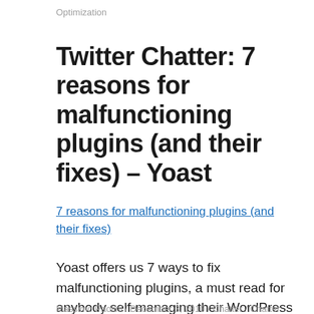Optimization
Twitter Chatter: 7 reasons for malfunctioning plugins (and their fixes) – Yoast
7 reasons for malfunctioning plugins (and their fixes)
Yoast offers us 7 ways to fix malfunctioning plugins, a must read for anybody self-managing their WordPress sites.
Massimo Paolini / December 3, 2010 / Chatter / Chatter